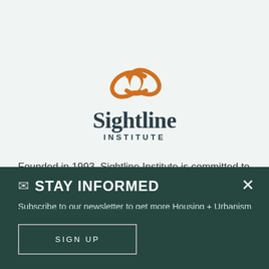[Figure (logo): Sightline Institute logo: orange butterfly/infinity knot SVG mark above the text 'Sightline' in dark serif font and 'INSTITUTE' in dark uppercase sans-serif font]
Founded in 1993, Sightline Institute is committed to making the Northwest a global model of sustainability, with strong
✉ STAY INFORMED
Subscribe to our newsletter to get more Housing + Urbanism research, analysis, and other policy updates delivered to your inbox
SIGN UP